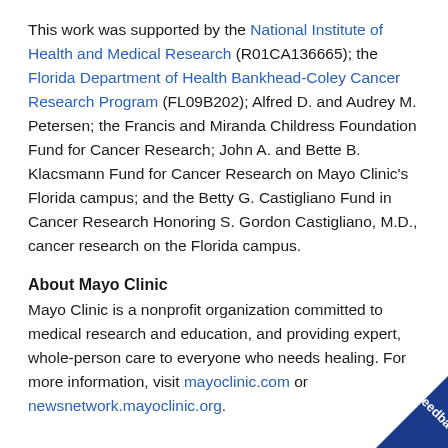This work was supported by the National Institute of Health and Medical Research (R01CA136665); the Florida Department of Health Bankhead-Coley Cancer Research Program (FL09B202); Alfred D. and Audrey M. Petersen; the Francis and Miranda Childress Foundation Fund for Cancer Research; John A. and Bette B. Klacsmann Fund for Cancer Research on Mayo Clinic's Florida campus; and the Betty G. Castigliano Fund in Cancer Research Honoring S. Gordon Castigliano, M.D., cancer research on the Florida campus.
About Mayo Clinic
Mayo Clinic is a nonprofit organization committed to medical research and education, and providing expert, whole-person care to everyone who needs healing. For more information, visit mayoclinic.com or newsnetwork.mayoclinic.org.